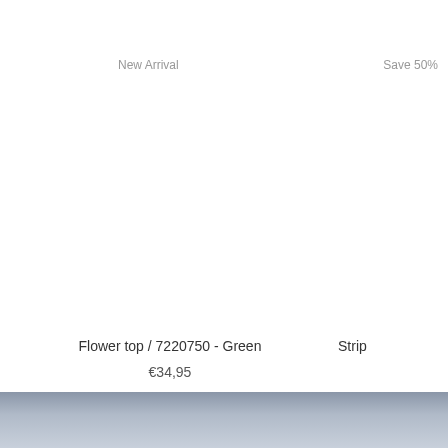New Arrival
Save 50%
Flower top / 7220750 - Green
€34,95
Strip
[Figure (photo): Blurred dark blue-grey background image at the bottom of the page]